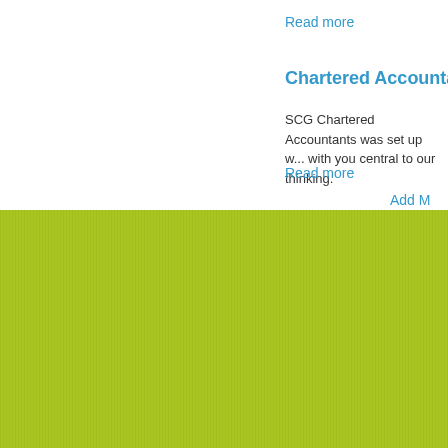Read more
Chartered Accountant | Best C
SCG Chartered Accountants was set up with you central to our thinking.
Read more
Add M
[Figure (other): Lime green textured background section filling the lower half of the page]